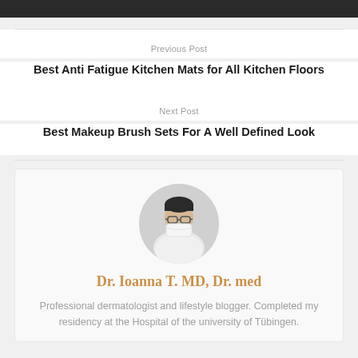Previous Post
Best Anti Fatigue Kitchen Mats for All Kitchen Floors
Next Post
Best Makeup Brush Sets For A Well Defined Look
[Figure (photo): Circular profile photo of a person wearing glasses and a white face mask, with a light grey background]
Dr. Ioanna T. MD, Dr. med
Professional dermatologist and lifestyle blogger. Completed my residency at the Hospital of the university of Tübingen.